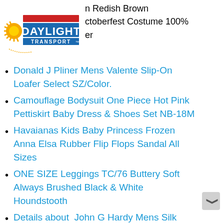[Figure (logo): Daylight Transport logo — sun rays with yellow/orange semicircle, red and blue horizontal stripes, text DAYLIGHT in dark blue, TRANSPORT in blue below]
n Redish Brown
ctoberfest Costume 100%
er
Donald J Pliner Mens Valente Slip-On Loafer Select SZ/Color.
Camouflage Bodysuit One Piece Hot Pink Pettiskirt Baby Dress & Shoes Set NB-18M
Havaianas Kids Baby Princess Frozen Anna Elsa Rubber Flip Flops Sandal All Sizes
ONE SIZE Leggings TC/76 Buttery Soft Always Brushed Black & White Houndstooth
Details about  John G Hardy Mens Silk Cotton Necktie Lt Blue Cream Stripe